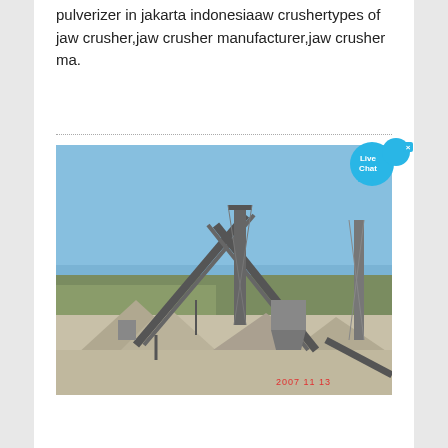pulverizer in jakarta indonesiaaw crushertypes of jaw crusher,jaw crusher manufacturer,jaw crusher ma.
[Figure (photo): Outdoor photograph of an industrial crushing/quarrying facility showing multiple conveyor belts, towers, and piles of crushed aggregate material under a clear blue sky. Timestamp reads 2007 11 13.]